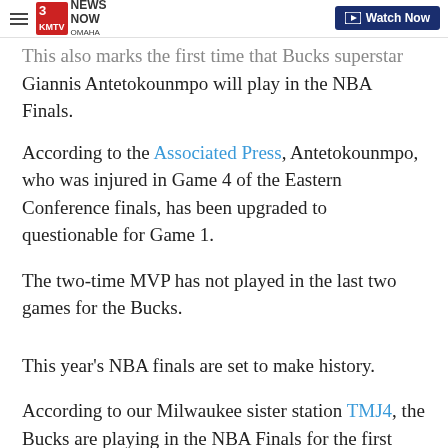3 News Now Omaha — Watch Now
This also marks the first time that Bucks superstar Giannis Antetokounmpo will play in the NBA Finals.
According to the Associated Press, Antetokounmpo, who was injured in Game 4 of the Eastern Conference finals, has been upgraded to questionable for Game 1.
The two-time MVP has not played in the last two games for the Bucks.
This year's NBA finals are set to make history.
According to our Milwaukee sister station TMJ4, the Bucks are playing in the NBA Finals for the first time since 1974.